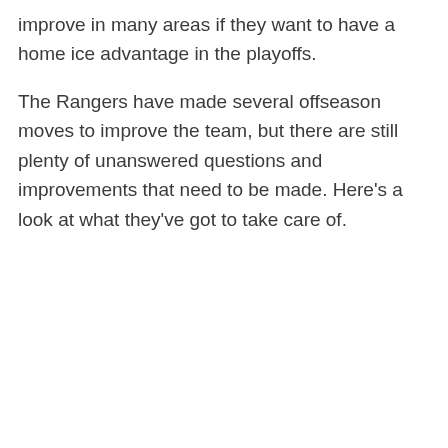improve in many areas if they want to have a home ice advantage in the playoffs.
The Rangers have made several offseason moves to improve the team, but there are still plenty of unanswered questions and improvements that need to be made. Here's a look at what they've got to take care of.